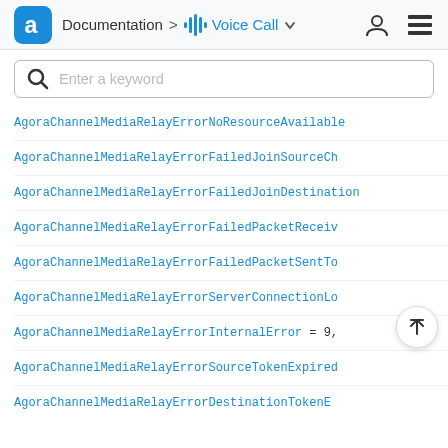Documentation > Voice Call
[Figure (screenshot): Search bar with magnifying glass icon and placeholder text 'Enter a keyword']
AgoraChannelMediaRelayErrorNoResourceAvailable
AgoraChannelMediaRelayErrorFailedJoinSourceCh
AgoraChannelMediaRelayErrorFailedJoinDestination
AgoraChannelMediaRelayErrorFailedPacketReceiv
AgoraChannelMediaRelayErrorFailedPacketSentTo
AgoraChannelMediaRelayErrorServerConnectionLo
AgoraChannelMediaRelayErrorInternalError = 9,
AgoraChannelMediaRelayErrorSourceTokenExpired
AgoraChannelMediaRelayErrorDestinationTokenE